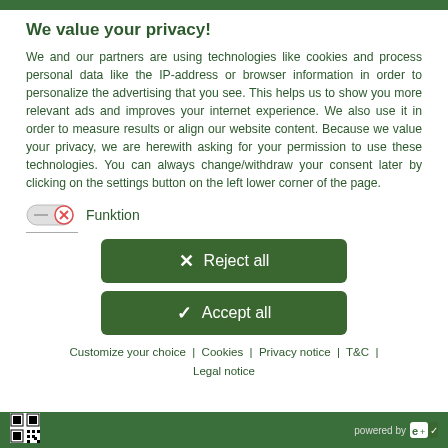We value your privacy!
We and our partners are using technologies like cookies and process personal data like the IP-address or browser information in order to personalize the advertising that you see. This helps us to show you more relevant ads and improves your internet experience. We also use it in order to measure results or align our website content. Because we value your privacy, we are herewith asking for your permission to use these technologies. You can always change/withdraw your consent later by clicking on the settings button on the left lower corner of the page.
Funktion
[Figure (other): Reject all button with X icon (dark green rounded rectangle)]
[Figure (other): Accept all button with checkmark icon (dark green rounded rectangle)]
Customize your choice | Cookies | Privacy notice | T&C | Legal notice
powered by [logo icons]